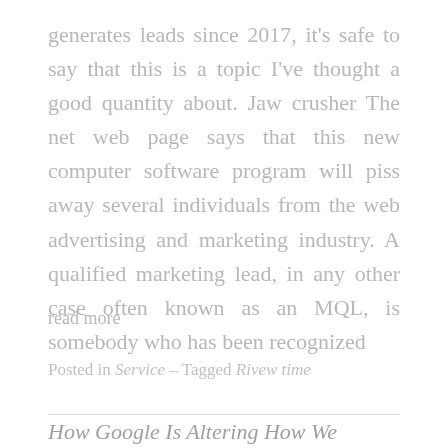generates leads since 2017, it's safe to say that this is a topic I've thought a good quantity about. Jaw crusher The net web page says that this new computer software program will piss away several individuals from the web advertising and marketing industry. A qualified marketing lead, in any other case often known as an MQL, is somebody who has been recognized
read more
Posted in Service – Tagged Rivew time
How Google Is Altering How We Approach Xbox Live